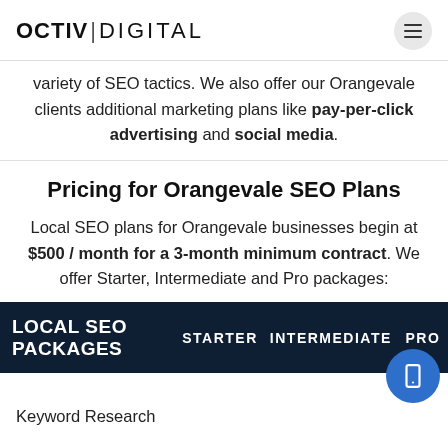OCTIV|DIGITAL
variety of SEO tactics. We also offer our Orangevale clients additional marketing plans like pay-per-click advertising and social media.
Pricing for Orangevale SEO Plans
Local SEO plans for Orangevale businesses begin at $500 / month for a 3-month minimum contract. We offer Starter, Intermediate and Pro packages:
| LOCAL SEO PACKAGES | STARTER | INTERMEDIATE | PRO |
| --- | --- | --- | --- |
| Keyword Research |  |  |  |
Keyword Research